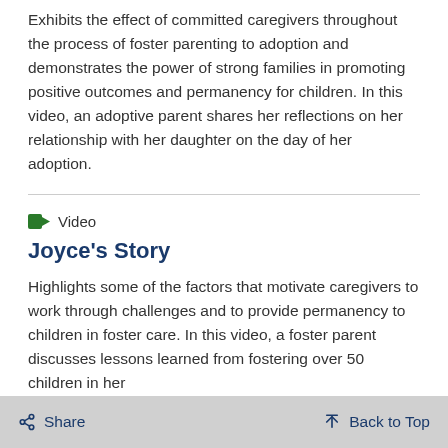Exhibits the effect of committed caregivers throughout the process of foster parenting to adoption and demonstrates the power of strong families in promoting positive outcomes and permanency for children. In this video, an adoptive parent shares her reflections on her relationship with her daughter on the day of her adoption.
📹 Video
Joyce's Story
Highlights some of the factors that motivate caregivers to work through challenges and to provide permanency to children in foster care. In this video, a foster parent discusses lessons learned from fostering over 50 children in her
Share   Back to Top